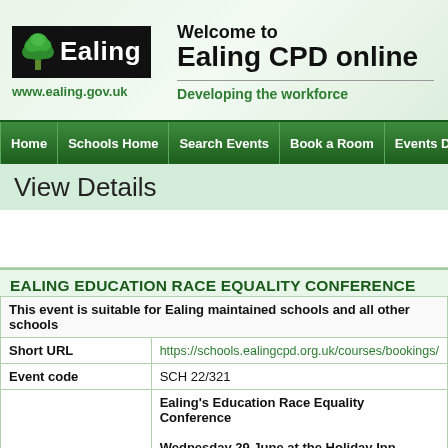[Figure (logo): Ealing Council logo with green tree icon and black background with 'Ealing' text, and website URL www.ealing.gov.uk below]
Welcome to Ealing CPD online
Developing the workforce
Home | Schools Home | Search Events | Book a Room | Events Directory | Help
View Details
EALING EDUCATION RACE EQUALITY CONFERENCE 2022
| This event is suitable for Ealing maintained schools and all other schools |  |
| Short URL | https://schools.ealingcpd.org.uk/courses/bookings/ |
| Event code | SCH 22/321 |
|  | Ealing's Education Race Equality Conference

Wednesday 29 June at the Holiday Inn, Brentor |